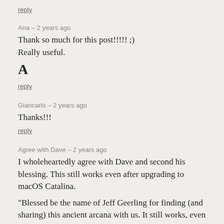reply
Ana – 2 years ago
Thank so much for this post!!!!! ;)
Really useful.
A
reply
Giancarlo – 2 years ago
Thanks!!!
reply
Agree with Dave – 2 years ago
I wholeheartedly agree with Dave and second his blessing. This still works even after upgrading to macOS Catalina.
"Blessed be the name of Jeff Geerling for finding (and sharing) this ancient arcana with us. It still works, even if the linked page is _literally_ a decade old."
reply